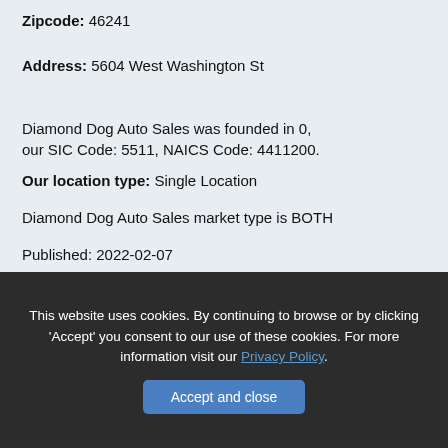Zipcode: 46241
Address: 5604 West Washington St
Diamond Dog Auto Sales was founded in 0, our SIC Code: 5511, NAICS Code: 4411200.
Our location type: Single Location
Diamond Dog Auto Sales market type is BOTH
Published: 2022-02-07
This website uses cookies. By continuing to browse or by clicking 'Accept' you consent to our use of these cookies. For more information visit our Privacy Policy.
Accept and close